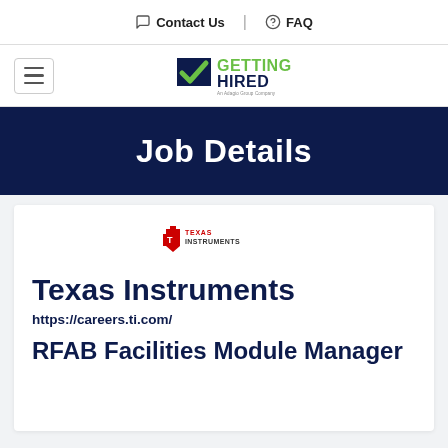Contact Us | FAQ
[Figure (logo): Getting Hired logo - An Adagio Group Company]
Job Details
[Figure (logo): Texas Instruments logo]
Texas Instruments
https://careers.ti.com/
RFAB Facilities Module Manager